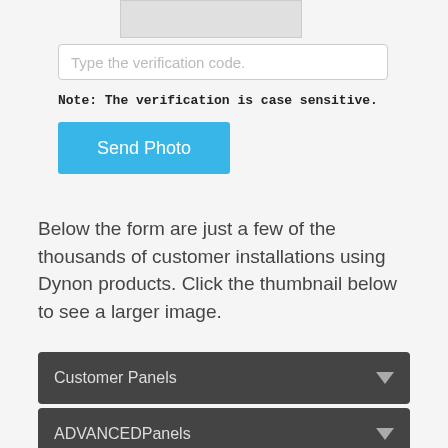[Figure (screenshot): Partially visible CAPTCHA image at the top of the page]
[Figure (screenshot): Text input field with placeholder text 'Type the verification code.']
Note: The verification is case sensitive.
[Figure (screenshot): Blue 'Send Photo' button]
Below the form are just a few of the thousands of customer installations using Dynon products. Click the thumbnail below to see a larger image.
[Figure (screenshot): Dark grey dropdown bar labeled 'Customer Panels' with a downward arrow]
[Figure (screenshot): Dark grey dropdown bar labeled 'ADVANCEDPanels' with a downward arrow]